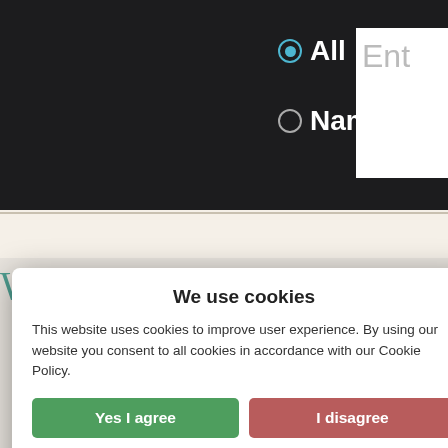[Figure (screenshot): Dark website header with radio buttons labeled 'All' and 'Name', and a partial search input field showing 'Ent']
What does Maurids mean?
[Figure (illustration): Ornate decorative drop cap letter M in a bordered square]
Maurids uses boyname is of the name Maurids is darkskin spelling of Mauricius (Latin).
STARTS WITH Ma-
We use cookies

This website uses cookies to improve user experience. By using our website you consent to all cookies in accordance with our Cookie Policy.

Yes I agree   I disagree

Read more

Free cookie consent by cookie-script.com